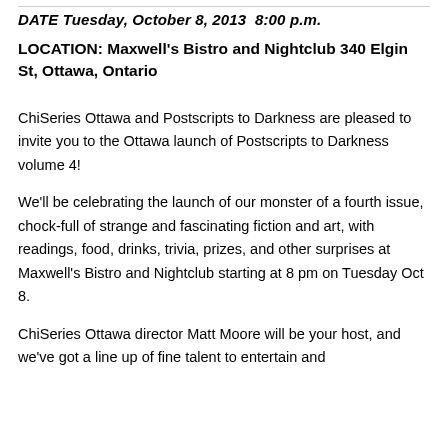DATE Tuesday, October 8, 2013  8:00 p.m.
LOCATION: Maxwell's Bistro and Nightclub 340 Elgin St, Ottawa, Ontario
ChiSeries Ottawa and Postscripts to Darkness are pleased to invite you to the Ottawa launch of Postscripts to Darkness volume 4!
We'll be celebrating the launch of our monster of a fourth issue, chock-full of strange and fascinating fiction and art, with readings, food, drinks, trivia, prizes, and other surprises at Maxwell's Bistro and Nightclub starting at 8 pm on Tuesday Oct 8.
ChiSeries Ottawa director Matt Moore will be your host, and we've got a line up of fine talent to entertain and